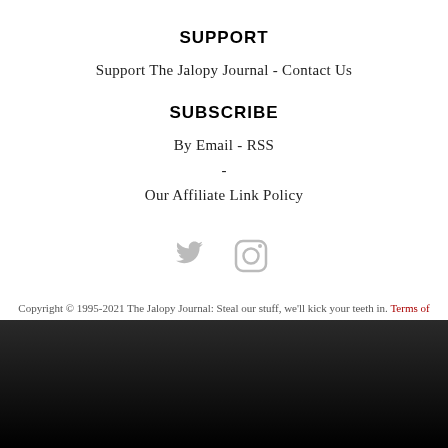SUPPORT
Support The Jalopy Journal - Contact Us
SUBSCRIBE
By Email - RSS
-
Our Affiliate Link Policy
[Figure (illustration): Twitter and Instagram social media icons in grey]
Copyright © 1995-2021 The Jalopy Journal: Steal our stuff, we'll kick your teeth in. Terms of Service. Privacy Policy.
[Figure (logo): Speed lines with vintage racing car silhouette logo]